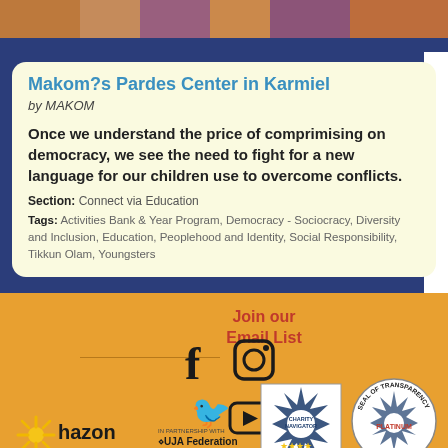[Figure (photo): Colorful photo strip showing people at top of page]
Makom?s Pardes Center in Karmiel
by MAKOM
Once we understand the price of comprimising on democracy, we see the need to fight for a new language for our children use to overcome conflicts.
Section: Connect via Education
Tags: Activities Bank & Year Program, Democracy - Sociocracy, Diversity and Inclusion, Education, Peoplehood and Identity, Social Responsibility, Tikkun Olam, Youngsters
Join our Email List
[Figure (logo): Social media icons: Facebook, Instagram, Twitter, YouTube]
[Figure (logo): Hazon logo - The Jewish Lab for Sustainability]
[Figure (logo): UJA Federation of New York logo]
[Figure (logo): Charity Navigator Four Star Charity badge]
[Figure (logo): Seal of Transparency Platinum badge]